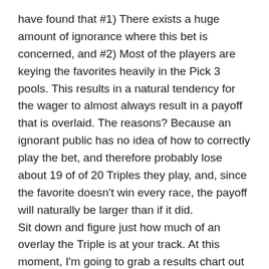have found that #1) There exists a huge amount of ignorance where this bet is concerned, and #2) Most of the players are keying the favorites heavily in the Pick 3 pools.  This results in a natural tendency for the wager to almost always result in a payoff that is overlaid.  The reasons?  Because an ignorant public has no idea of how to correctly play the bet, and therefore probably lose about 19 of of 20 Triples they play, and, since the favorite doesn't win every race, the payoff will naturally be larger than if it did.
Sit down and figure just how much of an overlay the Triple is at your track.  At this moment, I'm going to grab a results chart out of the pile.  I'm going to put my finger down on a race, and that's the Triple I'll figure for its 'overlay' value. I do this by determining what a three-horse parlay would pay in the same three races.  O.K., 7th race at Santa Anita, the winner pays $9.20; 8th race $19.00; 9th race $19.20.  We'll assume we are betting $2 on the Triple and will round off to the nearest dollar